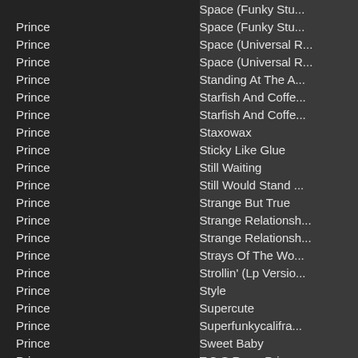| Artist |  | Song |
| --- | --- | --- |
| Prince |  | Space (Funky Stu... |
| Prince |  | Space (Universal R... |
| Prince |  | Space (Universal R... |
| Prince |  | Standing At The A... |
| Prince |  | Starfish And Coffe... |
| Prince |  | Starfish And Coffe... |
| Prince |  | Staxowax |
| Prince |  | Sticky Like Glue |
| Prince |  | Still Waiting |
| Prince |  | Still Would Stand ... |
| Prince |  | Strange But True |
| Prince |  | Strange Relationsh... |
| Prince |  | Strange Relationsh... |
| Prince |  | Strays Of The Wo... |
| Prince |  | Strollin' (Lp Versio... |
| Prince |  | Style |
| Prince |  | Supercute |
| Prince |  | Superfunkycalifra... |
| Prince |  | Sweet Baby |
| Prince |  | T.C.S Rap - Prince... |